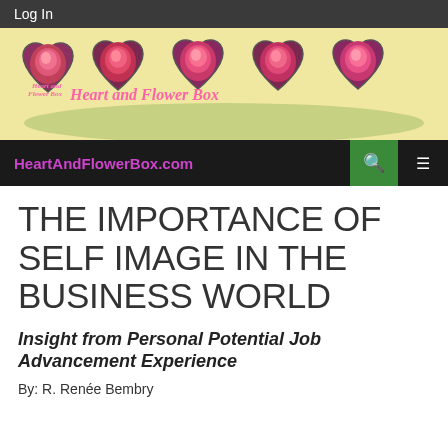Log In
[Figure (illustration): Heart And Flower Box banner with five overlapping heart-shaped flower boxes containing pink roses on a pale yellow background, with cursive text reading 'Heart and Flower Box']
HeartAndFlowerBox.com
THE IMPORTANCE OF SELF IMAGE IN THE BUSINESS WORLD
Insight from Personal Potential Job Advancement Experience
By: R. Renée Bembry